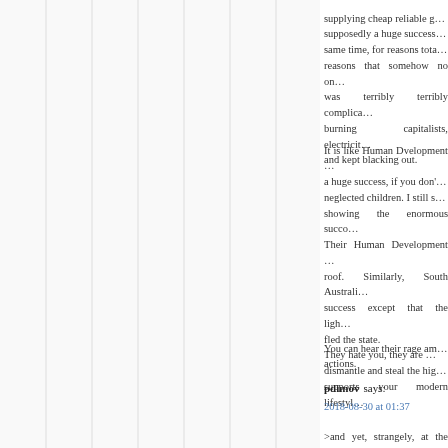supplying cheap reliable g… supposedly a huge success… same time, for reasons tota… reasons that somehow no on… was terribly terribly complica… burning capitalists, electricit… and kept blacking out.
It is like Human Dvelopment … a huge success, if you don'… neglected children. I still s… showing the enormous succo… Their Human Development … roof. Similarly, South Australi… success except that the ligh… fled the state. They hate you, they are … dismantle and steal the hig… supports your modern lifestyl…
You can hear their rage am… actions.
pdimov says:
2018-08-30 at 01:37
>and yet, strangely, at the s… totally unrelated to going gree…